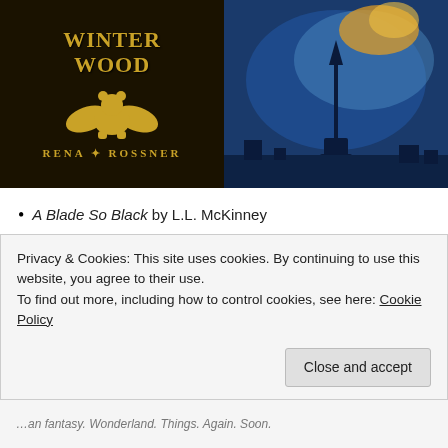[Figure (illustration): Two book covers side by side. Left: 'Winter Wood' by Rena Rossner with gold eagle and bear illustration on dark background. Right: 'Transcription' with blue atmospheric London cityscape.]
A Blade So Black by L.L. McKinney
Amazon | Goodreads
Fantasy, retelling
This is an urban fantasy retelling of Alice in
Privacy & Cookies: This site uses cookies. By continuing to use this website, you agree to their use.
To find out more, including how to control cookies, see here: Cookie Policy
Close and accept